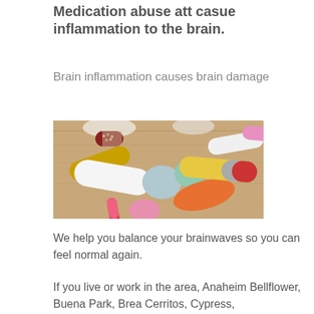Medication abuse att casue inflammation to the brain.
Brain inflammation causes brain damage
[Figure (photo): A close-up photo of various colorful pills, tablets, and capsules scattered on a wooden surface including orange, red, white, yellow, pink, blue, and green medications.]
We help you balance your brainwaves so you can feel normal again.
If you live or work in the area, Anaheim Bellflower, Buena Park, Brea Cerritos, Cypress,